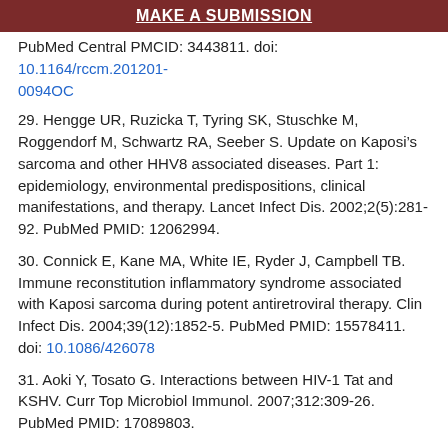MAKE A SUBMISSION
PubMed Central PMCID: 3443811. doi: 10.1164/rccm.201201-0094OC
29. Hengge UR, Ruzicka T, Tyring SK, Stuschke M, Roggendorf M, Schwartz RA, Seeber S. Update on Kaposi’s sarcoma and other HHV8 associated diseases. Part 1: epidemiology, environmental predispositions, clinical manifestations, and therapy. Lancet Infect Dis. 2002;2(5):281-92. PubMed PMID: 12062994.
30. Connick E, Kane MA, White IE, Ryder J, Campbell TB. Immune reconstitution inflammatory syndrome associated with Kaposi sarcoma during potent antiretroviral therapy. Clin Infect Dis. 2004;39(12):1852-5. PubMed PMID: 15578411. doi: 10.1086/426078
31. Aoki Y, Tosato G. Interactions between HIV-1 Tat and KSHV. Curr Top Microbiol Immunol. 2007;312:309-26. PubMed PMID: 17089803.
32. Toschi E, Bacigalupo I, Strippoli R, Chiozzini C, Cereseto A, Falchi M, Nappi F, Sgadari C, Barillari G, Mainiero F, Ensoli B. HIV-1 Tat regulates endothelial cell cycle progression via activation of the Ras/ERK MAPK signaling pathway. Mol Biol Cell. 2006;17(4):1985-94. PubMed PMID: 16436505. PubMed Central